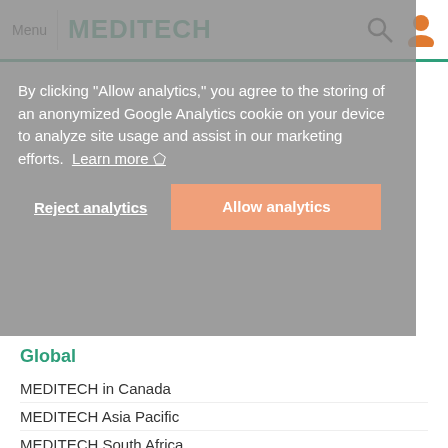Menu | MEDITECH
By clicking "Allow analytics," you agree to the storing of an anonymized Google Analytics cookie on your device to analyze site usage and assist in our marketing efforts. Learn more
eBooks
Events
Upcoming Webinars
On Demand Webinars
Global
MEDITECH in Canada
MEDITECH Asia Pacific
MEDITECH South Africa
MEDITECH UK & Ireland
Careers